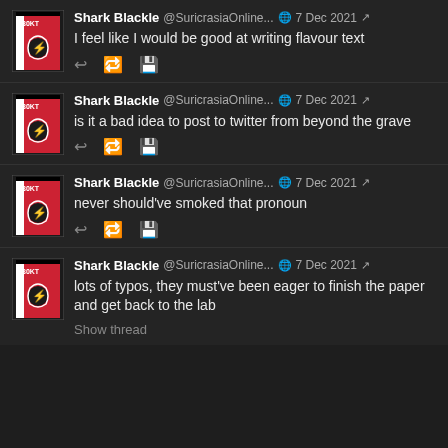[Figure (screenshot): Four Twitter/social media posts by 'Shark Blackle @SuricrasiaOnline...' dated 7 Dec 2021, dark theme UI. Posts read: 1) 'I feel like I would be good at writing flavour text', 2) 'is it a bad idea to post to twitter from beyond the grave', 3) 'never should've smoked that pronoun', 4) 'lots of typos, they must've been eager to finish the paper and get back to the lab' with 'Show thread' link.]